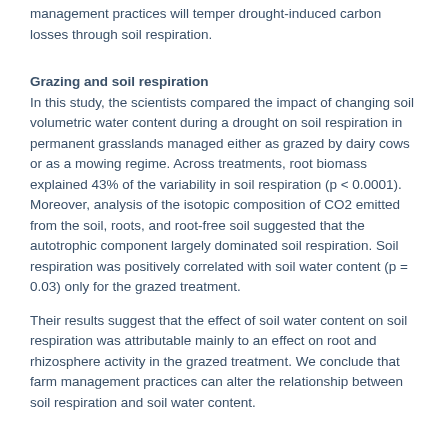management practices will temper drought-induced carbon losses through soil respiration.
Grazing and soil respiration
In this study, the scientists compared the impact of changing soil volumetric water content during a drought on soil respiration in permanent grasslands managed either as grazed by dairy cows or as a mowing regime. Across treatments, root biomass explained 43% of the variability in soil respiration (p < 0.0001). Moreover, analysis of the isotopic composition of CO2 emitted from the soil, roots, and root-free soil suggested that the autotrophic component largely dominated soil respiration. Soil respiration was positively correlated with soil water content (p = 0.03) only for the grazed treatment.
Their results suggest that the effect of soil water content on soil respiration was attributable mainly to an effect on root and rhizosphere activity in the grazed treatment. We conclude that farm management practices can alter the relationship between soil respiration and soil water content.